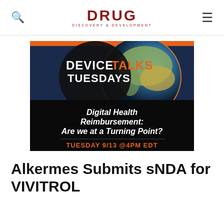DRUG DISCOVERY & DEVELOPMENT
[Figure (illustration): DeviceTalks Tuesdays promotional banner image. Shows a globe/Earth image with text overlay: 'DEVICE TALKS TUESDAYS' and 'Digital Health Reimbursement: Are we at a Turning Point?' and 'TUESDAY 9/13 @4PM EDT']
Alkermes Submits sNDA for VIVITROL